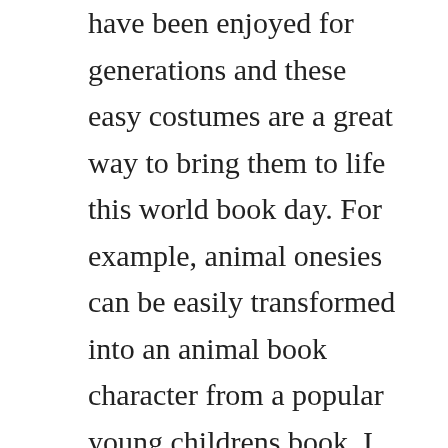have been enjoyed for generations and these easy costumes are a great way to bring them to life this world book day. For example, animal onesies can be easily transformed into an animal book character from a popular young childrens book. I ordered an adult large i am 58 110lbs and a 28 waist, fits perfectly the arms are just slightest bit short but not uncomfortably short. My secret weapon for this costume was a faux fur throw blanket.
World book day easy costume ideas february 6, 2019 aaah world book day is just around the corner normally i like to bury my head in